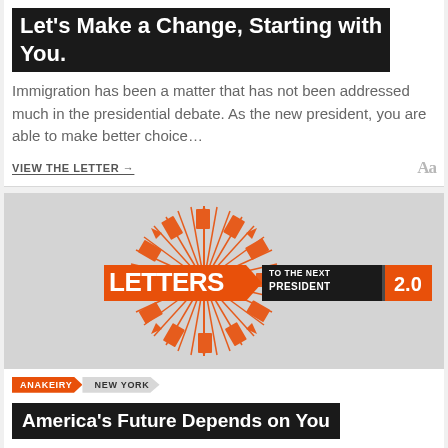Let's Make a Change, Starting with You.
Immigration has been a matter that has not been addressed much in the presidential debate. As the new president, you are able to make better choice…
VIEW THE LETTER →
[Figure (logo): Letters to the Next President 2.0 logo — orange starburst of envelope/arrow shapes with text 'LETTERS TO THE NEXT PRESIDENT 2.0']
ANAKEIRY   NEW YORK
America's Future Depends on You
America is called the land of the brave, for it sits atop strength and...